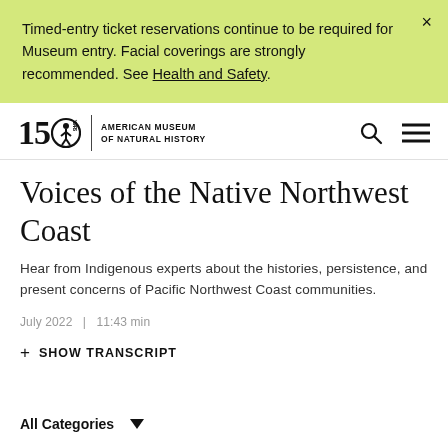Timed-entry ticket reservations continue to be required for Museum entry. Facial coverings are strongly recommended. See Health and Safety.
[Figure (logo): American Museum of Natural History 150 Years anniversary logo with stylized person figure]
Voices of the Native Northwest Coast
Hear from Indigenous experts about the histories, persistence, and present concerns of Pacific Northwest Coast communities.
July 2022   |   11:43 min
+ SHOW TRANSCRIPT
All Categories ▼